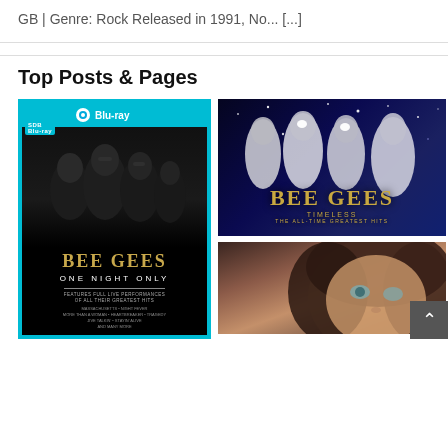GB | Genre: Rock Released in 1991, No... [...]
Top Posts & Pages
[Figure (photo): Bee Gees One Night Only Blu-ray cover — four band members in dark clothing on black background with gold text 'BEE GEES ONE NIGHT ONLY', blue Blu-ray logo at top]
[Figure (photo): Bee Gees Timeless: The All-Time Greatest Hits album cover — three band members against sparkly blue background, gold ornate text 'BEE GEES TIMELESS THE ALL-TIME GREATEST HITS']
[Figure (photo): Close-up portrait photo of a young woman with dark brown hair and blue-green eyes]